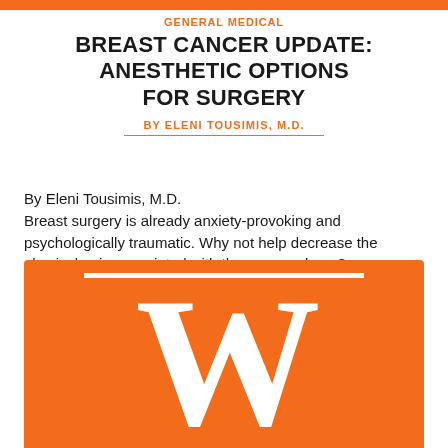GENERAL MEDICAL
BREAST CANCER UPDATE: ANESTHETIC OPTIONS FOR SURGERY
BY ELENI TOUSIMIS, M.D.
By Eleni Tousimis, M.D.
Breast surgery is already anxiety-provoking and psychologically traumatic. Why not help decrease the physical pain associated with these procedures?
Read More »
[Figure (logo): Large white serif letter W on an orange rectangular card background]